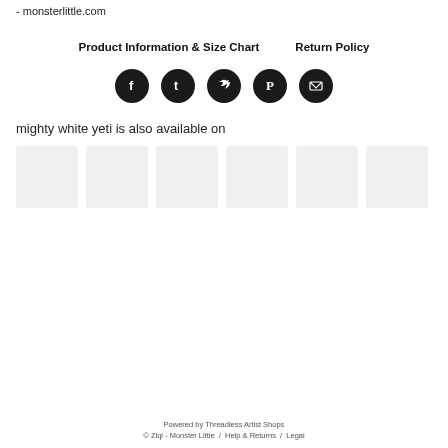- monsterlittle.com
Product Information & Size Chart    Return Policy
[Figure (infographic): Row of 5 social media icon circles: Facebook, Tumblr, Twitter, Pinterest, Email]
mighty white yeti is also available on
[Figure (infographic): Six light gray placeholder boxes representing marketplace logos]
Powered by Threadless Artist Shops
© Ziqi - Monster Little / Help & Returns / Legal